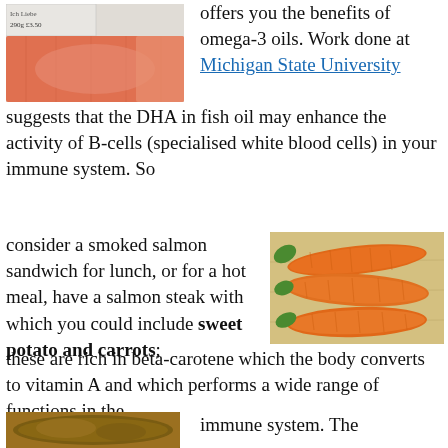[Figure (photo): Salmon fillet with price tag in a supermarket]
offers you the benefits of omega-3 oils. Work done at Michigan State University suggests that the DHA in fish oil may enhance the activity of B-cells (specialised white blood cells) in your immune system. So consider a smoked salmon sandwich for lunch, or for a hot meal, have a salmon steak with which you could include sweet potato and carrots; these are rich in beta-carotene which the body converts to vitamin A and which performs a wide range of functions in the immune system. The
[Figure (photo): Three orange carrots on a wooden surface]
[Figure (photo): Sweet potato]